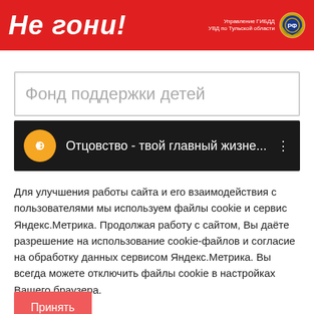[Figure (illustration): Red banner with bold italic Russian text 'Не гони!' and ГИБДД/УВД emblem on the right]
Фонд поддержки детей
[Figure (screenshot): Black video bar with orange circular icon and text 'Отцовство - твой главный жизне...' with three-dot menu]
Для улучшения работы сайта и его взаимодействия с пользователями мы используем файлы cookie и сервис Яндекс.Метрика. Продолжая работу с сайтом, Вы даёте разрешение на использование cookie-файлов и согласие на обработку данных сервисом Яндекс.Метрика. Вы всегда можете отключить файлы cookie в настройках Вашего браузера.
Принять